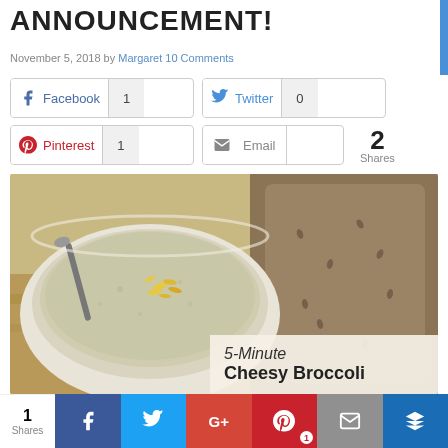ANNOUNCEMENT!
November 5, 2018 by Margaret 10 Comments
[Figure (screenshot): Social share buttons: Facebook (1), Twitter (0), Pinterest (1), Email; total 2 Shares]
[Figure (photo): A bowl of creamy broccoli soup topped with shredded cheese and a spoon beside slices of whole grain bread on a wooden cutting board. Overlay text reads: 5-Minute Cheesy Broccoli]
1 Shares | Facebook | Twitter | G+ | Pinterest | Email | Crown icon